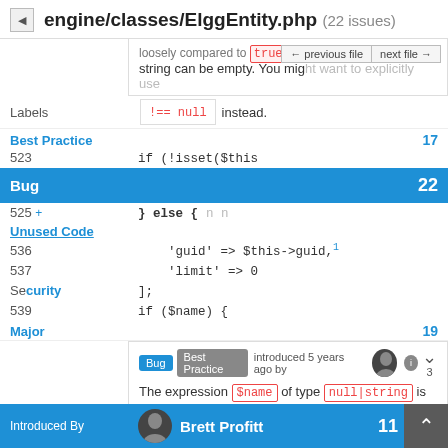engine/classes/ElggEntity.php (22 issues)
loosely compared to true ; this is ambiguous if the string can be empty. You might want to explicitly use !== null instead.
Labels
Best Practice  17
523   if (!isset($this
Bug  22
525 +   } else {
Unused Code
536   'guid' => $this->guid,
537   'limit' => 0
Security  538   ];
539   if ($name) {
Major  19
Bug Best Practice introduced 5 years ago by  3
The expression $name of type null|string is loosely compared to true ; this is ambiguous if the
Introduced By  Brett Profitt  11